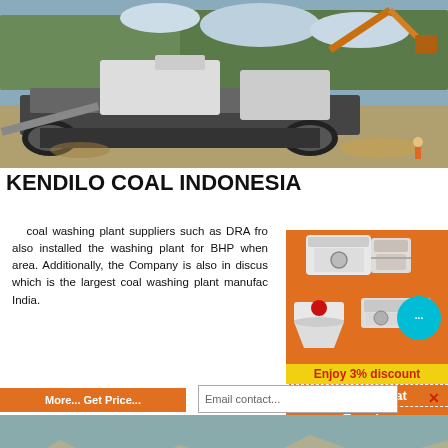[Figure (photo): Mining machinery and excavator at open-pit mining site with trees in background]
KENDILO COAL INDONESIA
coal washing plant suppliers such as DRA fro also installed the washing plant for BHP when area. Additionally, the Company is also in discus which is the largest coal washing plant manufac India.
[Figure (photo): Orange advertisement sidebar with industrial crushing machinery, chat bubble, 3% discount offer, Click to Chat button, and Enquiry text]
[Figure (photo): Open-pit quarry or mining site with stone crushing equipment and rocky terrain]